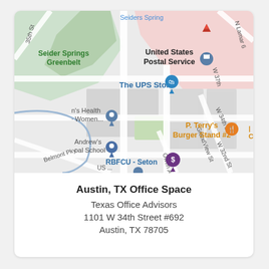[Figure (map): Google Maps view showing area near W 34th St in Austin, TX. Landmarks include Seider Springs Greenbelt, United States Postal Service, The UPS Store, P. Terry's Burger Stand #2, RBFCU - Seton, Andrew's Goal School, and street names including 35th St, N Lamar, W 37th, W 34th St, GrandView St, W 32nd St, Belmont Pky, Owen Ave.]
Austin, TX Office Space
Texas Office Advisors
1101 W 34th Street #692
Austin, TX 78705